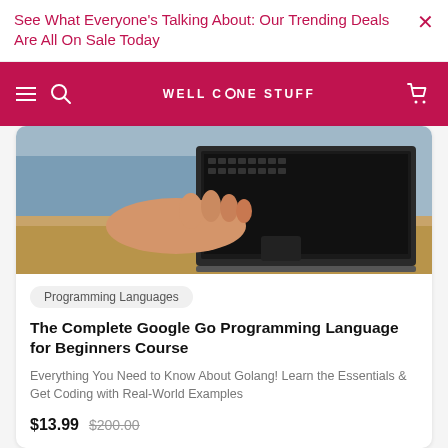See What Everyone's Talking About: Our Trending Deals Are All On Sale Today
[Figure (screenshot): Navigation bar with hamburger menu, search icon, WELL DONE STUFF logo, and cart icon on crimson background]
[Figure (photo): Close-up photo of hands typing on a laptop keyboard on a wooden desk]
Programming Languages
The Complete Google Go Programming Language for Beginners Course
Everything You Need to Know About Golang! Learn the Essentials & Get Coding with Real-World Examples
$13.99  $200.00
[Figure (illustration): Second product card with light blue background, bookmark icon, and document/folder graphic illustration]